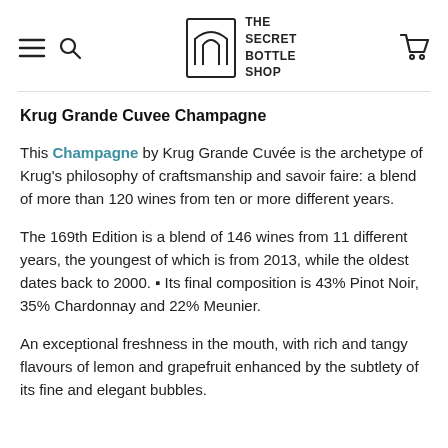THE SECRET BOTTLE SHOP — navigation header with hamburger menu, search, logo, and cart
Krug Grande Cuvee Champagne
This Champagne by Krug Grande Cuvée is the archetype of Krug's philosophy of craftsmanship and savoir faire: a blend of more than 120 wines from ten or more different years.
The 169th Edition is a blend of 146 wines from 11 different years, the youngest of which is from 2013, while the oldest dates back to 2000. ▪ Its final composition is 43% Pinot Noir, 35% Chardonnay and 22% Meunier.
An exceptional freshness in the mouth, with rich and tangy flavours of lemon and grapefruit enhanced by the subtlety of its fine and elegant bubbles.